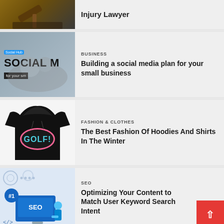[Figure (photo): Partial view of a gavel on a desk - injury lawyer article thumbnail]
Injury Lawyer
[Figure (photo): Social media marketing illustration with hands and phone - Social Media Hub logo visible]
BUSINESS
Building a social media plan for your small business
[Figure (photo): Black hoodie with GOLF! logo text]
FASHION & CLOTHES
The Best Fashion Of Hoodies And Shirts In The Winter
[Figure (illustration): SEO illustration with #1 ranking, person at computer, blue graphics]
SEO
Optimizing Your Content to Match User Keyword Search Intent